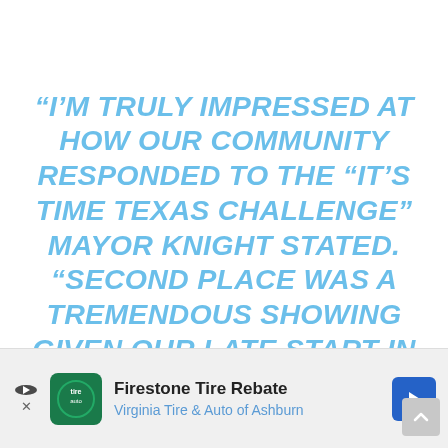“I’M TRULY IMPRESSED AT HOW OUR COMMUNITY RESPONDED TO THE “IT’S TIME TEXAS CHALLENGE” MAYOR KNIGHT STATED. “SECOND PLACE WAS A TREMENDOUS SHOWING GIVEN OUR LATE START IN THE CHALLENGE. CONGRATULATIONS TO LANCASTER ISD FOR ACHIEVING 1ST PLACE IN THE MIDSIZE DISTRICT CATEGORY. THIS VICTORY WAS WELL DESERVED, AND
[Figure (other): Advertisement bar: Firestone Tire Rebate - Virginia Tire & Auto of Ashburn, with logo and navigation arrow]